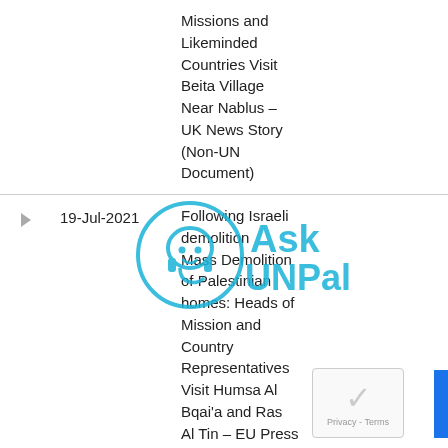|  | Date | Title | Category |
| --- | --- | --- | --- |
|  |  | Missions and Likeminded Countries Visit Beita Village Near Nablus – UK News Story (Non-UN Document) |  |
| > | 19-Jul-2021 | Following Israeli demolition Mass Demolition of Palestinian homes: Heads of Mission and Country Representatives Visit Humsa Al Bqai'a and Ras Al Tin – EU Press Release (Non-UN Document) |  |
| > | 20 May 2021 | Gaza Children… | Armed conflict C… |
[Figure (logo): AskUNPal watermark logo with headset icon in cyan/teal blue]